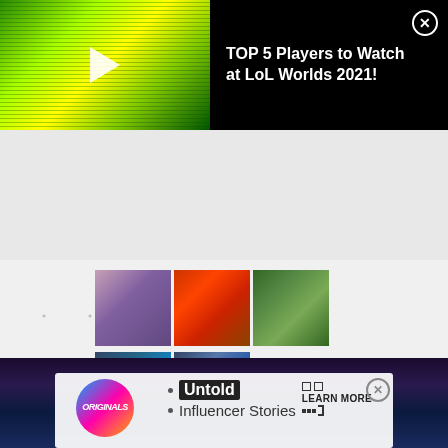[Figure (screenshot): Top banner ad: video thumbnail on left with play button (green/yellow abstract background), text on right reading 'TOP 5 Players to Watch at LoL Worlds 2021!' with close X button, black background]
[Figure (screenshot): Middle content area with dot grid pattern background, 5 video thumbnails in 3x2 grid (showing faces: person close-up, red Ferrari car, person outdoors, person in hoodie, person smiling), and 'LEARN MORE' button with icons in lower right]
[Figure (screenshot): Bottom banner ad: dark sci-fi city background, Originals logo circle (colorful gradient), 'Untold Influencer Stories' text with bullet points, 'LEARN MORE' button, close X button]